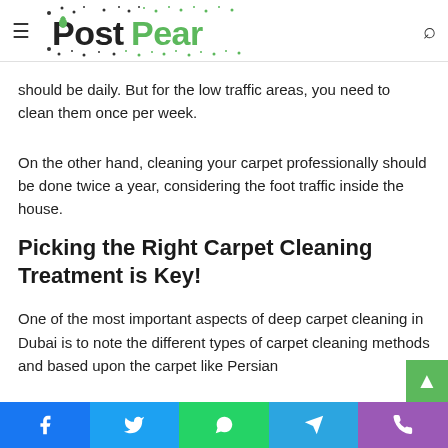PostPear
should be daily. But for the low traffic areas, you need to clean them once per week.
On the other hand, cleaning your carpet professionally should be done twice a year, considering the foot traffic inside the house.
Picking the Right Carpet Cleaning Treatment is Key!
One of the most important aspects of deep carpet cleaning in Dubai is to note the different types of carpet cleaning methods and based upon the carpet like Persian
Facebook | Twitter | WhatsApp | Telegram | Phone